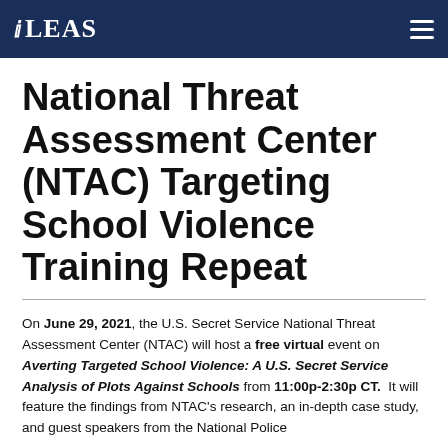ILEAS
National Threat Assessment Center (NTAC) Targeting School Violence Training Repeat
On June 29, 2021, the U.S. Secret Service National Threat Assessment Center (NTAC) will host a free virtual event on Averting Targeted School Violence: A U.S. Secret Service Analysis of Plots Against Schools from 11:00p-2:30p CT. It will feature the findings from NTAC's research, an in-depth case study, and guest speakers from the National Police